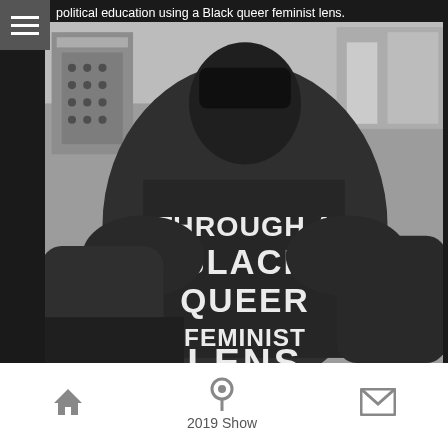political education using a Black queer feminist lens.
[Figure (photo): Black and white pixelated photo of a person seen from behind wearing a jacket that reads 'THROUGH A BLACK QUEER FEMINIST LENS' in large white block letters. Urban street scene in background.]
2019 Show